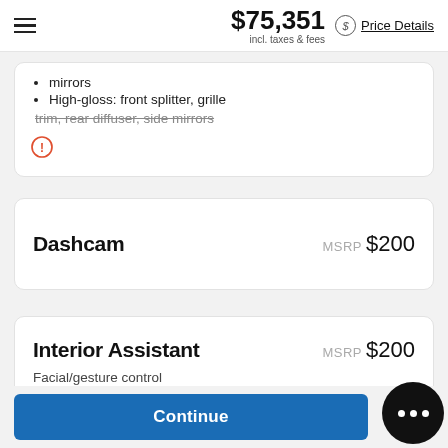$75,351 incl. taxes & fees | Price Details
mirrors
High-gloss: front splitter, grille trim, rear diffuser, side mirrors
Dashcam   MSRP $200
Interior Assistant   MSRP $200
Facial/gesture control
Continue